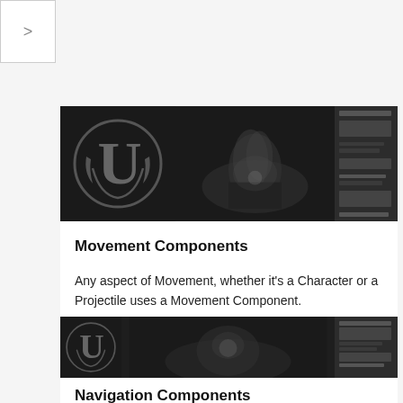>
[Figure (screenshot): Unreal Engine banner image showing UE logo on left, dark scene in middle, and UI panel on right]
Movement Components
Any aspect of Movement, whether it's a Character or a Projectile uses a Movement Component.
[Figure (screenshot): Unreal Engine banner image showing UE logo on left, dark scene in middle, and UI panel on right]
Navigation Components